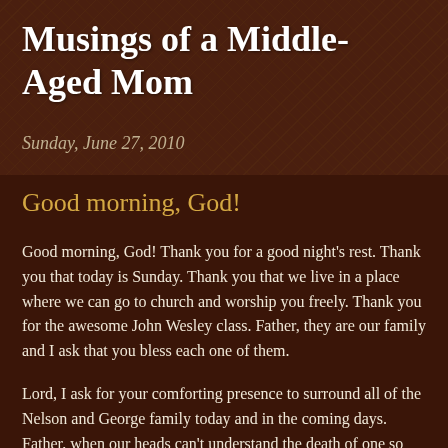Musings of a Middle-Aged Mom
Sunday, June 27, 2010
Good morning, God!
Good morning, God! Thank you for a good night's rest. Thank you that today is Sunday. Thank you that we live in a place where we can go to church and worship you freely. Thank you for the awesome John Wesley class. Father, they are our family and I ask that you bless each one of them.
Lord, I ask for your comforting presence to surround all of the Nelson and George family today and in the coming days. Father, when our heads can't understand the death of one so young, our hearts know without a shadow of doubt that we can trust you. Thank you for the witness of their lives.